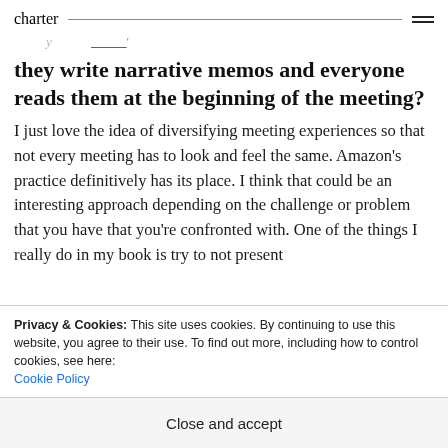charter
they write narrative memos and everyone reads them at the beginning of the meeting?
I just love the idea of diversifying meeting experiences so that not every meeting has to look and feel the same. Amazon's practice definitively has its place. I think that could be an interesting approach depending on the challenge or problem that you have that you're confronted with. One of the things I really do in my book is try to not present
Privacy & Cookies: This site uses cookies. By continuing to use this website, you agree to their use. To find out more, including how to control cookies, see here: Cookie Policy
Close and accept